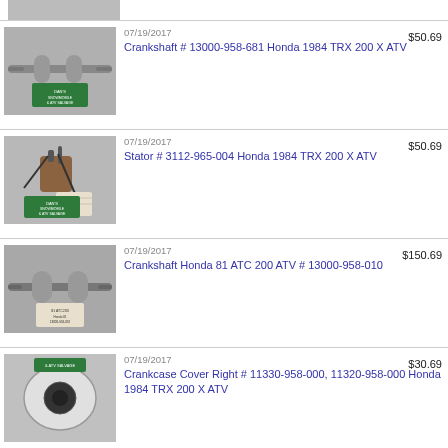[Figure (photo): Partial top photo strip of an ATV part from Dan's Snowmobile & ATV Salvage]
[Figure (photo): Crankshaft # 13000-958-681 Honda 1984 TRX 200 X ATV part with Dan's Snowmobile & ATV Salvage tag]
07/19/2017
Crankshaft # 13000-958-681 Honda 1984 TRX 200 X ATV
$50.69
[Figure (photo): Stator # 3112-965-004 Honda 1984 TRX 200 X ATV part with Dan's Snowmobile & ATV Salvage tag]
07/19/2017
Stator # 3112-965-004 Honda 1984 TRX 200 X ATV
$50.69
[Figure (photo): Crankshaft Honda 81 ATC 200 ATV # 13000-958-010 with tag]
07/19/2017
Crankshaft Honda 81 ATC 200 ATV # 13000-958-010
$150.69
[Figure (photo): Crankcase Cover Right # 11330-958-000, 11320-958-000 Honda 1984 TRX 200 X ATV with Dan's ATV Salvage tag]
07/19/2017
Crankcase Cover Right # 11330-958-000, 11320-958-000 Honda 1984 TRX 200 X ATV
$30.69